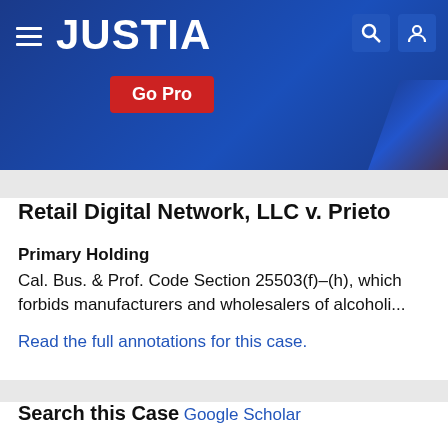JUSTIA
Retail Digital Network, LLC v. Prieto
Primary Holding
Cal. Bus. & Prof. Code Section 25503(f)–(h), which forbids manufacturers and wholesalers of alcoholi...
Read the full annotations for this case.
Search this Case
Google Scholar